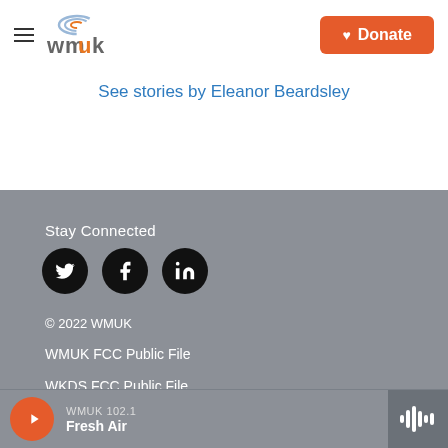[Figure (logo): WMUK radio station logo with hamburger menu icon]
[Figure (other): Orange Donate button with heart icon]
See stories by Eleanor Beardsley
Stay Connected
[Figure (other): Three social media icons: Twitter, Facebook, LinkedIn on black circles]
© 2022 WMUK
WMUK FCC Public File
WKDS FCC Public File
WMUK 102.1
Fresh Air